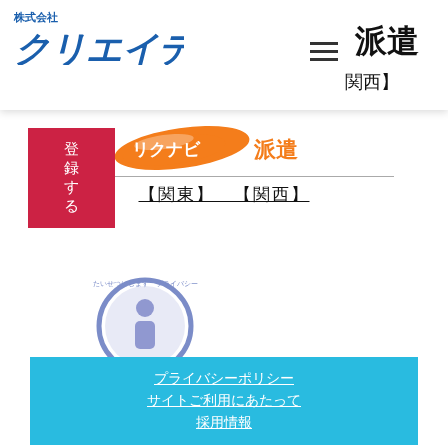[Figure (logo): 株式会社クリエイティブ company logo in blue italic text with small kanji above]
[Figure (screenshot): Red 登録する (register) button in header navigation bar]
[Figure (logo): リクナビ派遣 logo with orange swoosh shape]
【関東】 【関西】
[Figure (logo): Privacy mark logo with 'i' symbol in circle, text 'たいせつにします プライバシー' and number 20002055(04)]
プライバシーポリシー
サイトご利用にあたって
採用情報